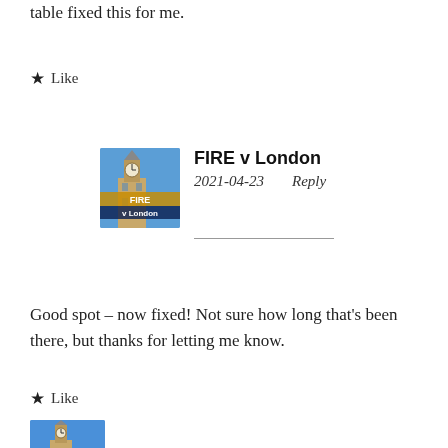table fixed this for me.
★ Like
[Figure (photo): Blog avatar image for FIRE v London showing Big Ben and text 'FIRE v London']
FIRE v London
2021-04-23     Reply
Good spot – now fixed! Not sure how long that's been there, but thanks for letting me know.
★ Like
[Figure (photo): Blog avatar image showing Big Ben against blue sky]
Feb 2022 – The richest man in the world –